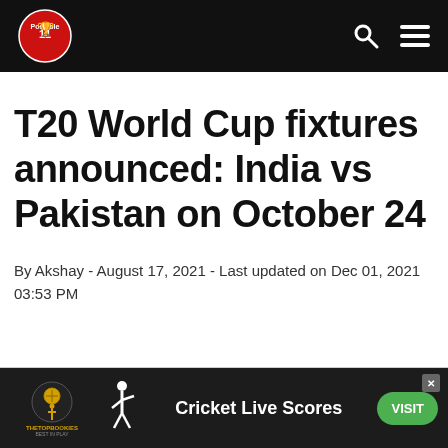Possible 11 - navbar with logo, search and menu icons
T20 World Cup fixtures announced: India vs Pakistan on October 24
By Akshay - August 17, 2021 - Last updated on Dec 01, 2021 03:53 PM
[Figure (other): Advertisement banner: TheTopBookies - Cricket Live Scores - VISIT button]